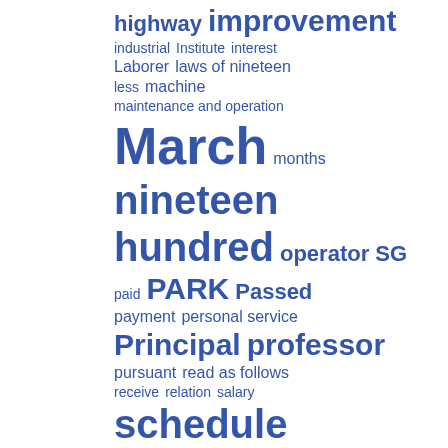[Figure (infographic): Word cloud of government/legislative terms with varying font sizes indicating frequency. Terms include: highway, improvement, industrial, Institute, interest, Laborer, laws of nineteen, less, machine, maintenance and operation, March, months, nineteen hundred, operator SG, paid, PARK, Passed, payment, personal service, Principal, professor, pursuant, read as follows, receive, relation, salary, schedule, Senate, Senior clerk, SG, Senior, stenographer SG, service and suppress (partial)]